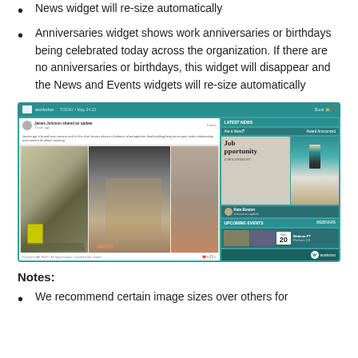News widget will re-size automatically
Anniversaries widget shows work anniversaries or birthdays being celebrated today across the organization. If there are no anniversaries or birthdays, this widget will disappear and the News and Events widgets will re-size automatically
[Figure (screenshot): Screenshot of Workvivo platform interface showing a news feed post with office photos on the left, and panels on the right showing job opportunity, people profiles, and an upcoming event on November 20.]
Notes:
We recommend certain image sizes over others for